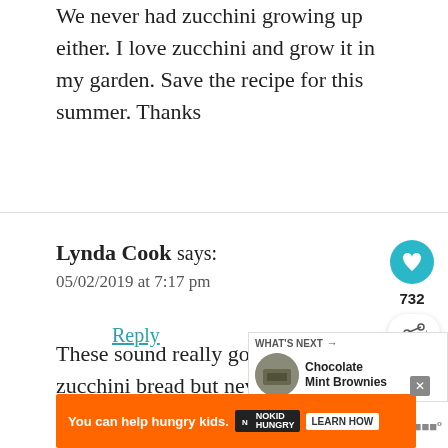We never had zucchini growing up either. I love zucchini and grow it in my garden. Save the recipe for this summer. Thanks
Reply
Lynda Cook says:
05/02/2019 at 7:17 pm
These sound really good, I have made zucchini bread but never brownies, I am going to...
[Figure (other): WHAT'S NEXT arrow label with thumbnail image of Chocolate Mint Brownies]
[Figure (other): Orange advertisement banner: You can help hungry kids. No Kid Hungry. LEARN HOW]